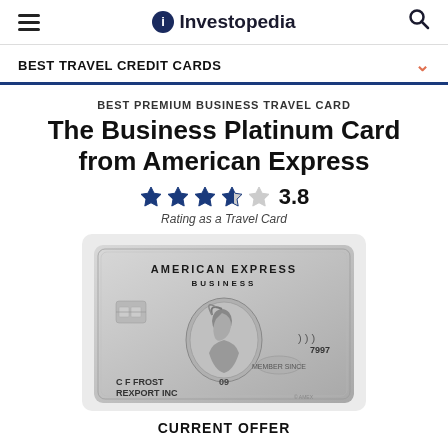Investopedia
BEST TRAVEL CREDIT CARDS
BEST PREMIUM BUSINESS TRAVEL CARD
The Business Platinum Card from American Express
3.8 Rating as a Travel Card
[Figure (photo): American Express Business Platinum credit card showing a silver card with centurion warrior, chip, contactless symbol, card number ending 7997, cardholder C F FROST REXPORT INC, expiry 09]
CURRENT OFFER